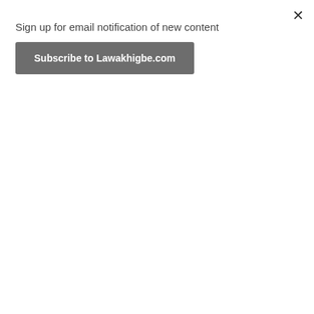Sign up for email notification of new content
Subscribe to Lawakhigbe.com
[Figure (illustration): Political cartoon illustration of a baby with blonde hair wearing a diaper sitting on an American flag, holding a smartphone/device, viewed from behind. The American flag shows blue field with white stars on the left and red and white stripes. Dark smoky background.]
Republican politicians can't duck